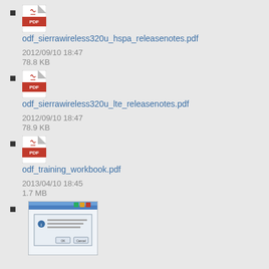odf_sierrawireless320u_hspa_releasenotes.pdf
2012/09/10 18:47
78.8 KB
odf_sierrawireless320u_lte_releasenotes.pdf
2012/09/10 18:47
78.9 KB
odf_training_workbook.pdf
2013/04/10 18:45
1.7 MB
[Figure (screenshot): Screenshot of a Windows dialog box]